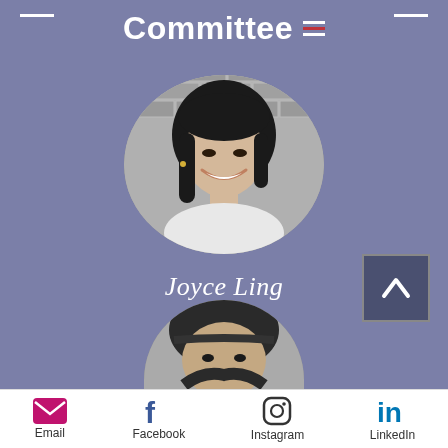Committee
[Figure (photo): Circular black and white profile photo of Joyce Ling, a young woman with long dark hair, smiling, in front of a brick wall]
Joyce Ling
[Figure (logo): LinkedIn 'in' logo in white on blue rounded square background]
[Figure (photo): Partial circular black and white profile photo of a second person with bangs, partially cropped at bottom of screen]
[Figure (other): Back to top arrow button, upward chevron on dark square background]
Email   Facebook   Instagram   LinkedIn